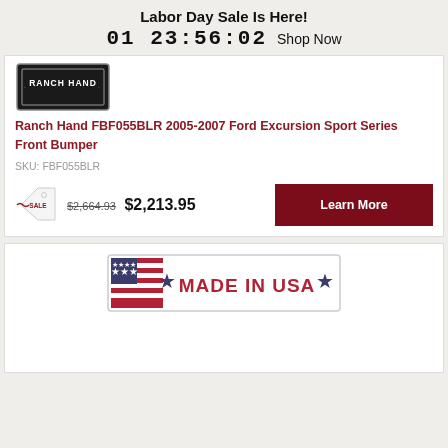Labor Day Sale Is Here! 01 23:56:02 Shop Now
[Figure (logo): Ranch Hand logo badge]
Ranch Hand FBF055BLR 2005-2007 Ford Excursion Sport Series Front Bumper
SKU: FBF055BLR
SALE $2,664.93 $2,213.95 Learn More
[Figure (logo): Made in USA badge with American flag and stars]